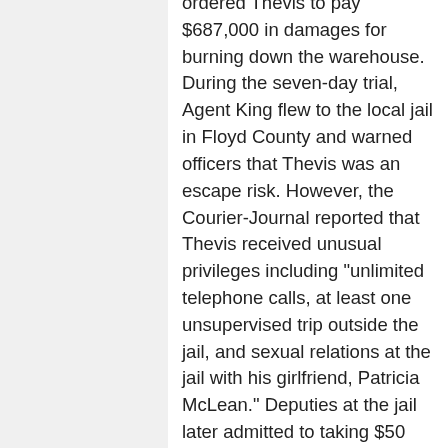ordered Thevis to pay $687,000 in damages for burning down the warehouse. During the seven-day trial, Agent King flew to the local jail in Floyd County and warned officers that Thevis was an escape risk. However, the Courier-Journal reported that Thevis received unusual privileges including "unlimited telephone calls, at least one unsupervised trip outside the jail, and sexual relations at the jail with his girlfriend, Patricia McLean." Deputies at the jail later admitted to taking $50 and $100 "tips" from their millionaire prisoner. A newspaper even reported that